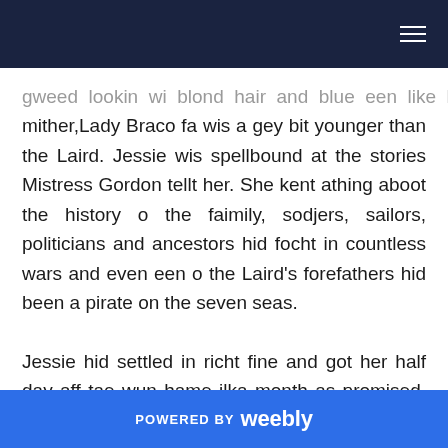gweed lookin wi blond hair and blue een like his mither,Lady Braco fa wis a gey bit younger than the Laird. Jessie wis spellbound at the stories Mistress Gordon tellt her. She kent athing aboot the history o the faimily, sodjers, sailors, politicians and ancestors hid focht in countless wars and even een o the Laird's forefathers hid been a pirate on the seven seas.
Jessie hid settled in richt fine and got her half day aff tae wun hame ilka month as promised. She'd gie her mither aa her pey tae help wi the feedin o the younger bairns. Jessie earned as much as her faither in a month aa thanks tae the kindness o Laird Braco faa's policy it wis tae gie his workers
POWERED BY weebly